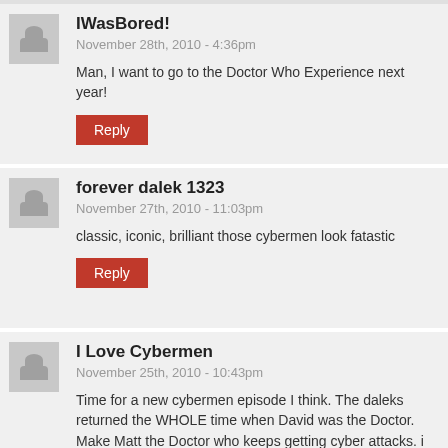IWasBored!
November 28th, 2010 - 4:36pm
Man, I want to go to the Doctor Who Experience next year!
Reply
forever dalek 1323
November 27th, 2010 - 11:03pm
classic, iconic, brilliant those cybermen look fatastic
Reply
I Love Cybermen
November 25th, 2010 - 10:43pm
Time for a new cybermen episode I think. The daleks returned the WHOLE time when David was the Doctor. Make Matt the Doctor who keeps getting cyber attacks. i dunno why, maybe it's the troughtonness (ooh, there's a new word!) of it but the idea of a bow tied, wacky doc